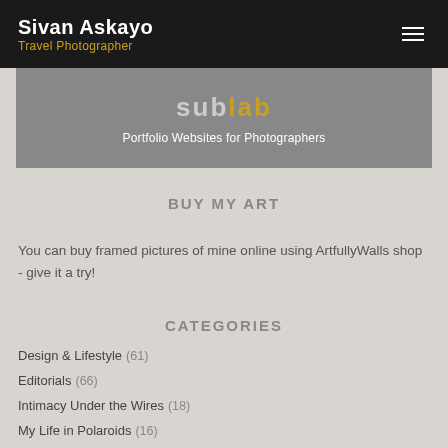Sivan Askayo
Travel Photographer
[Figure (logo): Squarespace/Substab logo banner with text 'Portfolio Websites for Photographers']
BUY MY ART
You can buy framed pictures of mine online using ArtfullyWalls shop - give it a try!
CATEGORIES
Design & Lifestyle  (61)
Editorials  (66)
Intimacy Under the Wires  (18)
My Life in Polaroids  (16)